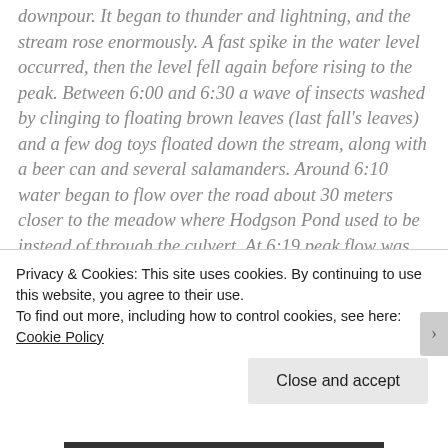...in A.S.C. the Hubbard Tiny Watershed was experiencing a downpour. It began to thunder and lightning, and the stream rose enormously. A fast spike in the water level occurred, then the level fell again before rising to the peak. Between 6:00 and 6:30 a wave of insects washed by clinging to floating brown leaves (last fall's leaves) and a few dog toys floated down the stream, along with a beer can and several salamanders. Around 6:10 water began to flow over the road about 30 meters closer to the meadow where Hodgson Pond used to be instead of through the culvert. At 6:19 peak flow was attained and the culvert was completely full of water. At 6:38 the rain stopped and the
Privacy & Cookies: This site uses cookies. By continuing to use this website, you agree to their use.
To find out more, including how to control cookies, see here: Cookie Policy
Close and accept